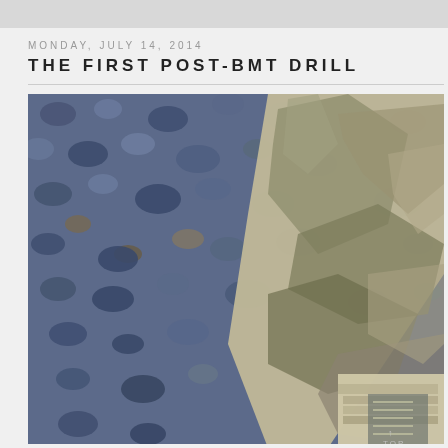MONDAY, JULY 14, 2014
THE FIRST POST-BMT DRILL
[Figure (photo): Close-up overhead view of military combat boots in camouflage uniform pants standing on blue-grey gravel/rocks. The image shows the boots and lower trouser legs in Air Force digital tiger-stripe camouflage (ABU pattern) on a bed of dark blue-grey crushed stone.]